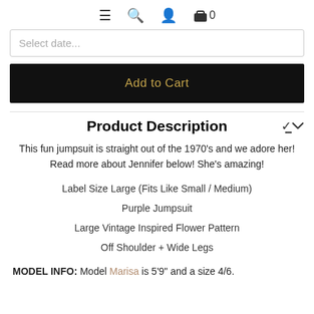≡ 🔍 👤 🛍 0
Select date...
Add to Cart
Product Description
This fun jumpsuit is straight out of the 1970's and we adore her! Read more about Jennifer below! She's amazing!
Label Size Large (Fits Like Small / Medium)
Purple Jumpsuit
Large Vintage Inspired Flower Pattern
Off Shoulder + Wide Legs
MODEL INFO: Model Marisa is 5'9" and a size 4/6.